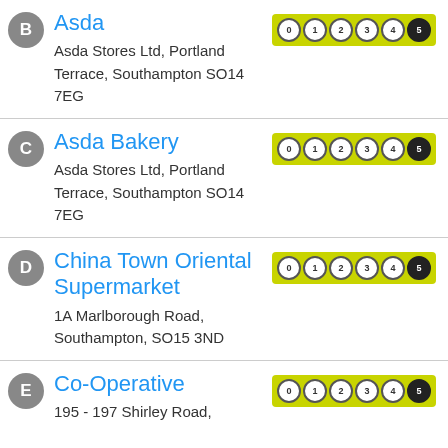B – Asda, Asda Stores Ltd, Portland Terrace, Southampton SO14 7EG, Rating: 5
C – Asda Bakery, Asda Stores Ltd, Portland Terrace, Southampton SO14 7EG, Rating: 5
D – China Town Oriental Supermarket, 1A Marlborough Road, Southampton, SO15 3ND, Rating: 5
E – Co-Operative, 195 - 197 Shirley Road, Rating: 5